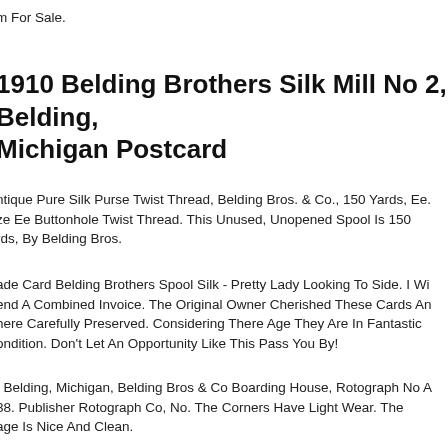m For Sale.
1910 Belding Brothers Silk Mill No 2, Belding, Michigan Postcard
ntique Pure Silk Purse Twist Thread, Belding Bros. & Co., 150 Yards, Ee. ze Ee Buttonhole Twist Thread. This Unused, Unopened Spool Is 150 rds, By Belding Bros.
ade Card Belding Brothers Spool Silk - Pretty Lady Looking To Side. I Wi end A Combined Invoice. The Original Owner Cherished These Cards An here Carefully Preserved. Considering There Age They Are In Fantastic ondition. Don't Let An Opportunity Like This Pass You By!
, Belding, Michigan, Belding Bros & Co Boarding House, Rotograph No A 38. Publisher Rotograph Co, No. The Corners Have Light Wear. The age Is Nice And Clean.